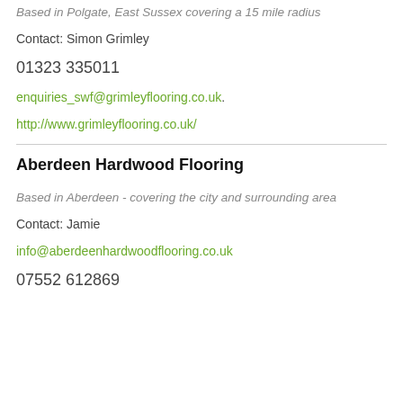Based in Polgate, East Sussex covering a 15 mile radius
Contact: Simon Grimley
01323 335011
enquiries_swf@grimleyflooring.co.uk.
http://www.grimleyflooring.co.uk/
Aberdeen Hardwood Flooring
Based in Aberdeen - covering the city and surrounding area
Contact: Jamie
info@aberdeenhardwoodflooring.co.uk
07552 612869